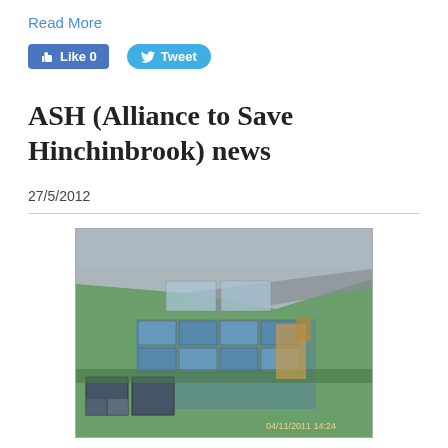Read More
[Figure (other): Facebook Like button (0 likes) and Twitter Tweet button]
ASH (Alliance to Save Hinchinbrook) news
27/5/2012
[Figure (photo): Aerial photograph taken from a small aircraft showing aquaculture ponds/prawn farm and surrounding landscape near Hinchinbrook, dated 04/11/2011 14:24]